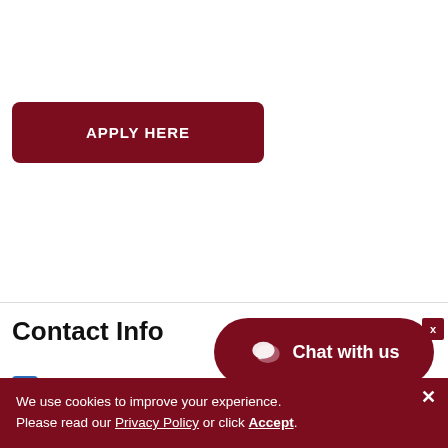[Figure (other): Dark red button with white uppercase text reading APPLY HERE, with rounded corners]
Contact Info
[Figure (other): Dark red pill-shaped Chat with us button with speech bubble icon]
[Figure (other): Small dark red X close button]
(502) 694-4764
We use cookies to improve your experience. Please read our Privacy Policy or click Accept.